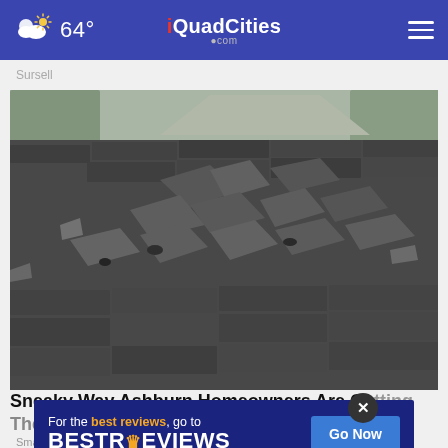64° | iQuadCities.com
Sursell
[Figure (photo): Damaged roof shingles on a residential home, showing peeling and lifting asphalt shingles with a house and trees in the background]
Sneaky Way Ashburn Homeowners Are Getting The...
Smart...
[Figure (other): Ad banner: For the best reviews, go to BESTREVIEWS with a Go Now button]